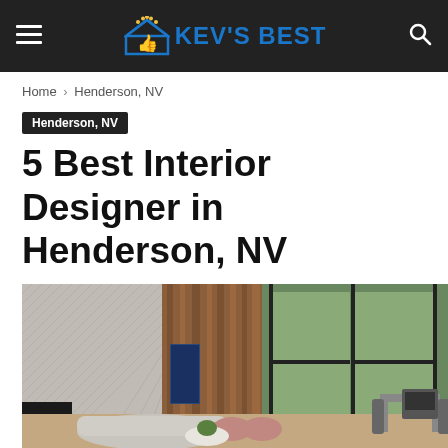KEV'S BEST
Home › Henderson, NV
Henderson, NV
5 Best Interior Designer in Henderson, NV
[Figure (photo): Modern open-plan living room interior with herringbone stone fireplace, wood accent wall, large glass sliding doors opening to outdoor patio, neutral sectional sofa with orange and green accent pillows, pink armchairs, and outdoor dining area visible through the windows.]